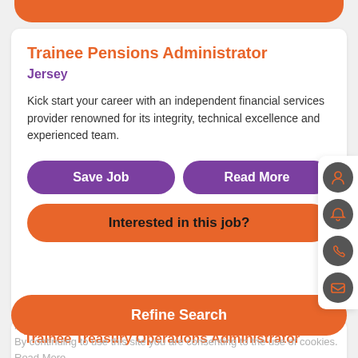Trainee Pensions Administrator
Jersey
Kick start your career with an independent financial services provider renowned for its integrity, technical excellence and experienced team.
Save Job
Read More
Interested in this job?
This website uses cookies to enhance your experience and to help us improve the site. For further information please view our Cookie Policy. By continuing to use this site you are consenting to the use of cookies. Read More
Trainee Treasury Operations Administrator
Refine Search
banking and investment firm, where they place huge value